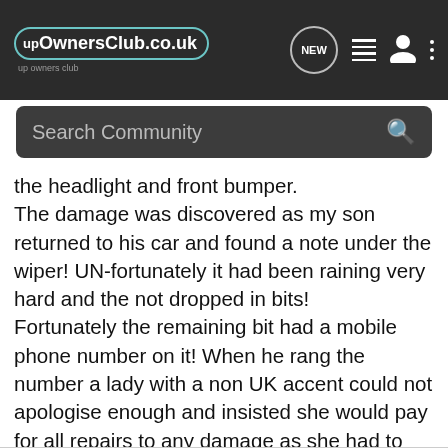upOwnersClub.co.uk
Search Community
the headlight and front bumper.
The damage was discovered as my son returned to his car and found a note under the wiper! UN-fortunately it had been raining very hard and the not dropped in bits!
Fortunately the remaining bit had a mobile phone number on it! When he rang the number a lady with a non UK accent could not apologise enough and insisted she would pay for all repairs to any damage as she had to rush off after the bump!
Anyway estimates were obtained and money collected and car is due in for repairs shortly!
RESULT!